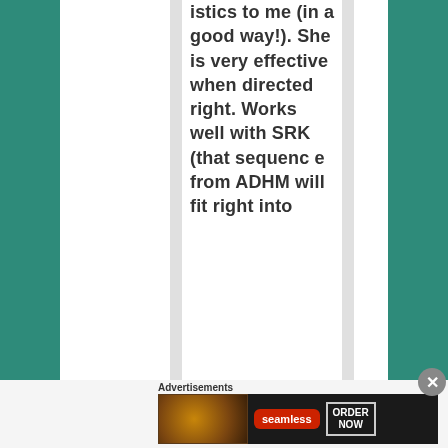istics to me (in a good way!). She is very effective when directed right. Works well with SRK (that sequence from ADHM will fit right into
Advertisements
[Figure (other): Seamless food delivery advertisement banner showing pizza on the left, Seamless logo in red in the center, and ORDER NOW button on the right, on a dark background.]